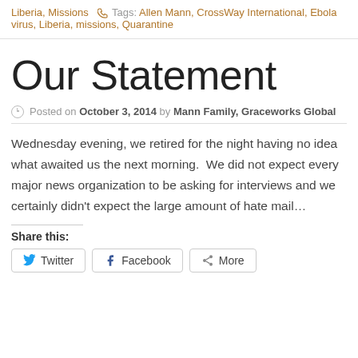Liberia, Missions  Tags: Allen Mann, CrossWay International, Ebola virus, Liberia, missions, Quarantine
Our Statement
Posted on October 3, 2014 by Mann Family, Graceworks Global
Wednesday evening, we retired for the night having no idea what awaited us the next morning.  We did not expect every major news organization to be asking for interviews and we certainly didn’t expect the large amount of hate mail…
Share this: Twitter  Facebook  More